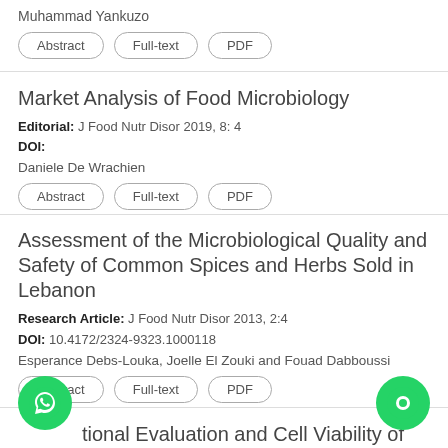Muhammad Yankuzo
Abstract | Full-text | PDF
Market Analysis of Food Microbiology
Editorial: J Food Nutr Disor 2019, 8: 4
DOI:
Daniele De Wrachien
Abstract | Full-text | PDF
Assessment of the Microbiological Quality and Safety of Common Spices and Herbs Sold in Lebanon
Research Article: J Food Nutr Disor 2013, 2:4
DOI: 10.4172/2324-9323.1000118
Esperance Debs-Louka, Joelle El Zouki and Fouad Dabboussi
Abstract | Full-text | PDF
...tional Evaluation and Cell Viability of Formulated Probiotic Millet Fruit Bar